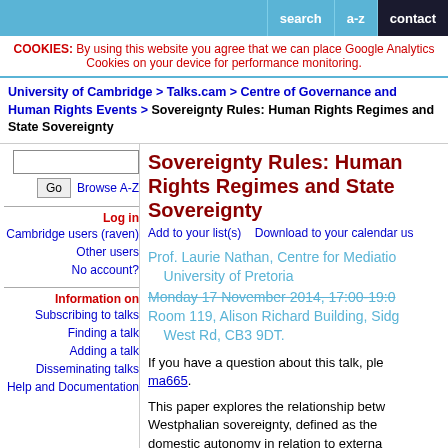search | a-z | contact
COOKIES: By using this website you agree that we can place Google Analytics Cookies on your device for performance monitoring.
University of Cambridge > Talks.cam > Centre of Governance and Human Rights Events > Sovereignty Rules: Human Rights Regimes and State Sovereignty
Sovereignty Rules: Human Rights Regimes and State Sovereignty
Add to your list(s)    Download to your calendar us
Prof. Laurie Nathan, Centre for Mediation, University of Pretoria
Monday 17 November 2014, 17:00-19:0
Room 119, Alison Richard Building, Sidg, West Rd, CB3 9DT.
If you have a question about this talk, please contact ma665.
This paper explores the relationship between Westphalian sovereignty, defined as the domestic autonomy in relation to external, international and regional human rights...
Log in
Cambridge users (raven)
Other users
No account?
Information on
Subscribing to talks
Finding a talk
Adding a talk
Disseminating talks
Help and Documentation